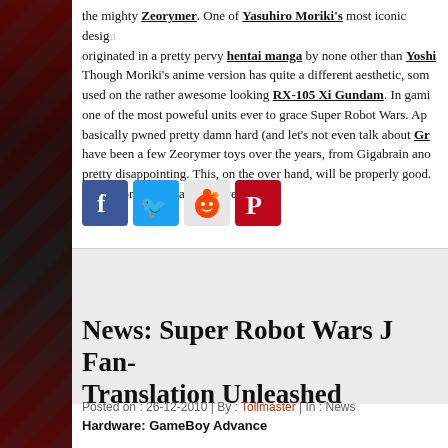the mighty Zeorymer. One of Yasuhiro Moriki's most iconic designs, originated in a pretty pervy hentai manga by none other than Yoshi... Though Moriki's anime version has quite a different aesthetic, some elements were used on the rather awesome looking RX-105 Xi Gundam. In gaming, Zeorymer is one of the most poweful units ever to grace Super Robot Wars. Ap... basically pwned pretty damn hard (and let's not even talk about Gr... have been a few Zeorymer toys over the years, from Gigabrain and... pretty disappointing. This, on the over hand, will be properly good. ...for a February release next year.
[Figure (other): Social sharing icons: Facebook, Twitter, Reddit, Pinterest]
[Figure (other): Gray advertisement or image section]
News: Super Robot Wars J Fan-Translation Unleashed
Posted on : 26-12-2010 | By : Tollmaster | In : News
Hardware: GameBoy Advance